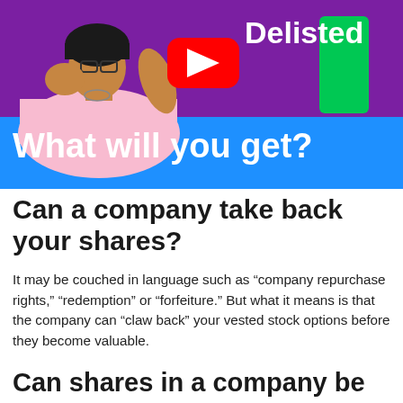[Figure (screenshot): YouTube video thumbnail showing a woman with hand on cheek, looking thoughtful, with text 'Delisted' in top right, YouTube play button in center, and blue banner at bottom reading 'What will you get?'. Purple/magenta background behind the person.]
Can a company take back your shares?
It may be couched in language such as “company repurchase rights,” “redemption” or “forfeiture.” But what it means is that the company can “claw back” your vested stock options before they become valuable.
Can shares in a company be